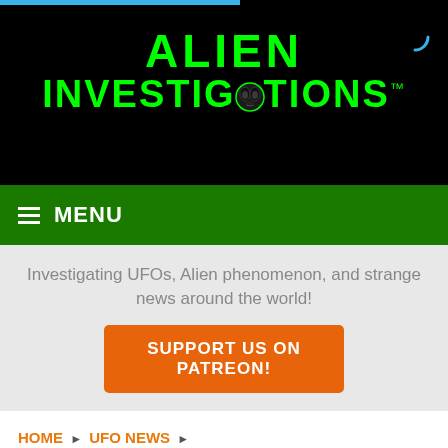[Figure (logo): Alien Investigations logo with green neon text on black background, featuring an alien face icon inside the letter O of INVESTIGATIONS, with TM superscript]
MENU
Investigating UFOs, Alien phenomenon, and strange news around the world!
SUPPORT US ON PATREON!
HOME ▶ UFO NEWS ▶
UFO AND ALIEN PRESENCE IN HUMAN HISTORY